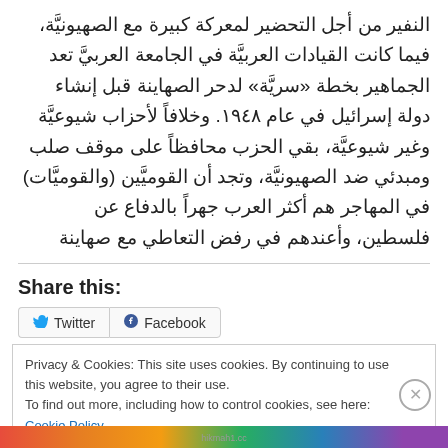النفير من أجل التحضير لمعركة كبيرة مع الصهيونيَّة، فيما كانت القيادات العربيَّة في الجامعة العربيَّ تعد الجماهير بخطة «سريَّة» لدحر الصهاينة قبل إنشاء دولة إسرائيل في عام ١٩٤٨. وخلافاً لأحزاب شيوعيَّة وغير شيوعيَّة، بقي الحزب محافظاً على موقف صلب ومبدئي ضد الصهيونيَّة، وتجد أن القوميَّين (والقوميَّات) في المهاجر هم أكثر العرب جهراً بالدفاع عن فلسطين، وأعندهم في رفض التعاطي مع صهاينة
Share this:
Twitter  Facebook
Privacy & Cookies: This site uses cookies. By continuing to use this website, you agree to their use. To find out more, including how to control cookies, see here: Cookie Policy
Close and accept